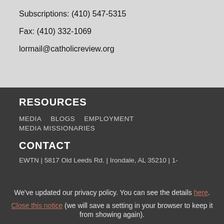Subscriptions: (410) 547-5315
Fax: (410) 332-1069
lormail@catholicreview.org
RESOURCES
MEDIA   BLOGS   EMPLOYMENT
MEDIA MISSIONARIES
CONTACT
EWTN | 5817 Old Leeds Rd. | Irondale, AL 35210 | 1-
We've updated our privacy policy. You can see the details here.
Close this notice (we will save a setting in your browser to keep it from showing again).